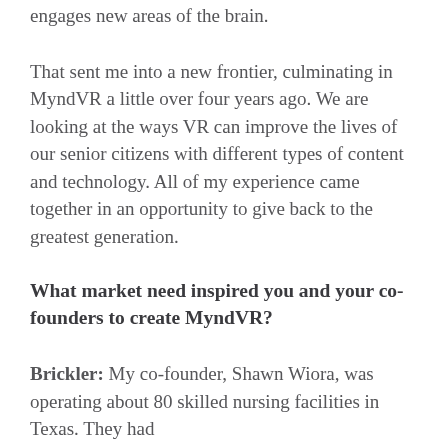engages new areas of the brain.
That sent me into a new frontier, culminating in MyndVR a little over four years ago. We are looking at the ways VR can improve the lives of our senior citizens with different types of content and technology. All of my experience came together in an opportunity to give back to the greatest generation.
What market need inspired you and your co-founders to create MyndVR?
Brickler: My co-founder, Shawn Wiora, was operating about 80 skilled nursing facilities in Texas. They had